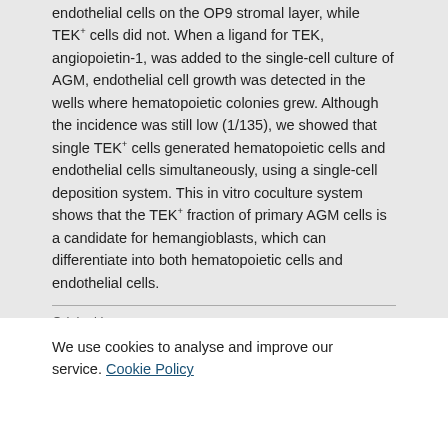endothelial cells on the OP9 stromal layer, while TEK+ cells did not. When a ligand for TEK, angiopoietin-1, was added to the single-cell culture of AGM, endothelial cell growth was detected in the wells where hematopoietic colonies grew. Although the incidence was still low (1/135), we showed that single TEK+ cells generated hematopoietic cells and endothelial cells simultaneously, using a single-cell deposition system. This in vitro coculture system shows that the TEK+ fraction of primary AGM cells is a candidate for hemangioblasts, which can differentiate into both hematopoietic cells and endothelial cells.
| Field | Value |
| --- | --- |
| Original language | English |
| Pages (from-to) | 1549-1556 |
We use cookies to analyse and improve our service. Cookie Policy